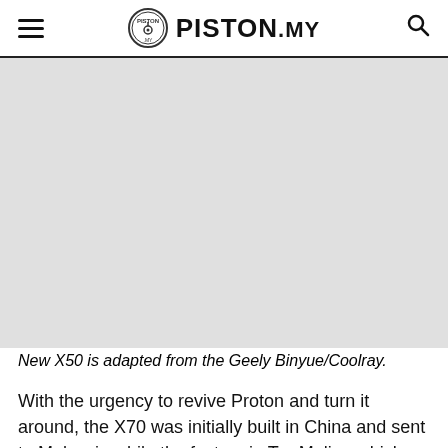PISTON.MY
[Figure (photo): Photo of the Proton X50 / Geely Binyue/Coolray SUV]
New X50 is adapted from the Geely Binyue/Coolray.
With the urgency to revive Proton and turn it around, the X70 was initially built in China and sent to Malaysia while the factory in Tg. Malim, which started operations